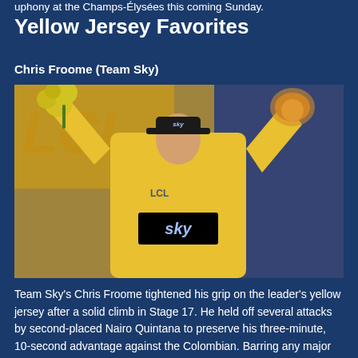uphony at the Champs-Élysées this coming Sunday.
Yellow Jersey Favorites
Chris Froome (Team Sky)
[Figure (photo): Chris Froome in yellow jersey on podium, arms raised, holding yellow flowers in left hand and a stuffed lion toy in right hand, wearing Team Sky cap, with LCL backdrop]
Team Sky's Chris Froome tightened his grip on the leader's yellow jersey after a solid climb in Stage 17. He held off several attacks by second-placed Nairo Quintana to preserve his three-minute, 10-second advantage against the Colombian. Barring any major setback, it looks like the Kenya-born